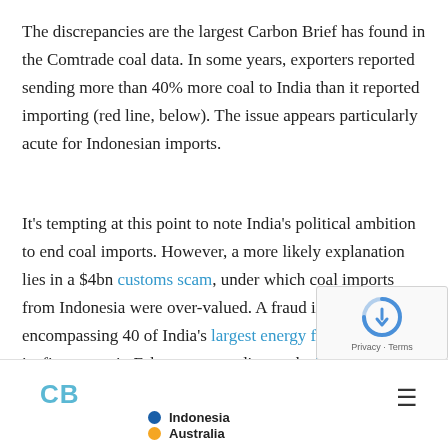The discrepancies are the largest Carbon Brief has found in the Comtrade coal data. In some years, exporters reported sending more than 40% more coal to India than it reported importing (red line, below). The issue appears particularly acute for Indonesian imports.
It's tempting at this point to note India's political ambition to end coal imports. However, a more likely explanation lies in a $4bn customs scam, under which coal imports from Indonesia were over-valued. A fraud investigation, encompassing 40 of India's largest energy firms, secured its first arrest in February, according [to the] Times of India.
[Figure (logo): Carbon Brief (CB) logo in teal/blue color]
[Figure (infographic): Hamburger menu icon (three horizontal lines)]
[Figure (infographic): reCAPTCHA widget overlay in bottom-right corner]
Indonesia (dark blue dot)
Australia (orange dot)